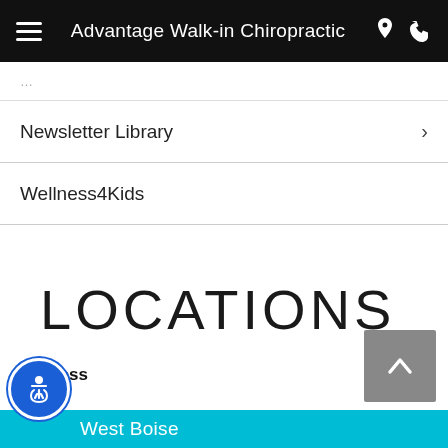Advantage Walk-in Chiropractic
Newsletter Library
Wellness4Kids
LOCATIONS
Address
82704
West Boise